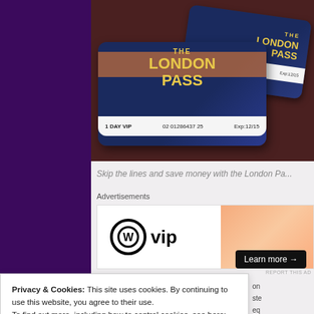[Figure (photo): Two London Pass VIP cards (1 DAY VIP, 02 01286437 25, Exp:12/15) on a dark red surface]
Skip the lines and save money with the London Pa...
Advertisements
[Figure (other): WordPress VIP advertisement banner with 'Learn more' button on orange gradient background]
Privacy & Cookies: This site uses cookies. By continuing to use this website, you agree to their use. To find out more, including how to control cookies, see here: Cookie Policy
Close and accept